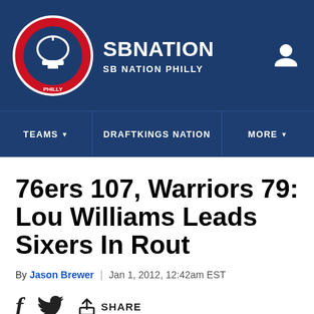SB NATION / SB NATION PHILLY
76ers 107, Warriors 79: Lou Williams Leads Sixers In Rout
By Jason Brewer | Jan 1, 2012, 12:42am EST
SHARE